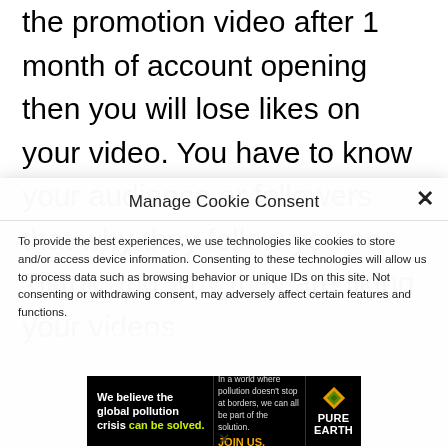the promotion video after 1 month of account opening then you will lose likes on your video. You have to know your audience or followers that why they follow you on Tiktok and why they are liking your videos.
Manage Cookie Consent
To provide the best experiences, we use technologies like cookies to store and/or access device information. Consenting to these technologies will allow us to process data such as browsing behavior or unique IDs on this site. Not consenting or withdrawing consent, may adversely affect certain features and functions.
[Figure (other): Pure Earth advertisement banner: 'We believe the global pollution crisis can be solved. In a world where pollution doesn't stop at borders, we can all be part of the solution. JOIN US.' with Pure Earth logo.]
No compatible source was found for this media.